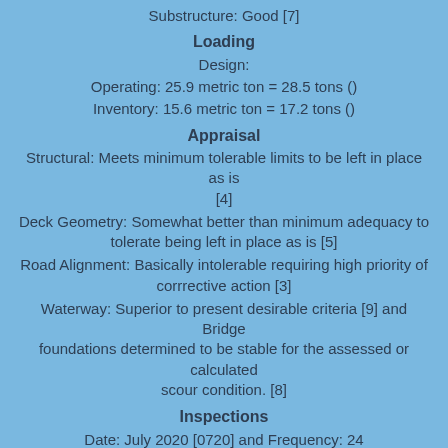Substructure: Good [7]
Loading
Design:
Operating: 25.9 metric ton = 28.5 tons ()
Inventory: 15.6 metric ton = 17.2 tons ()
Appraisal
Structural: Meets minimum tolerable limits to be left in place as is [4]
Deck Geometry: Somewhat better than minimum adequacy to tolerate being left in place as is [5]
Road Alignment: Basically intolerable requiring high priority of corrrective action [3]
Waterway: Superior to present desirable criteria [9] and Bridge foundations determined to be stable for the assessed or calculated scour condition. [8]
Inspections
Date: July 2020 [0720] and Frequency: 24
Future Work
Work Needed:
Bridge Detour: 0.3 km = 0.2 mi
Traffic
ADT: 1965 (2012) and Trucks: 1%